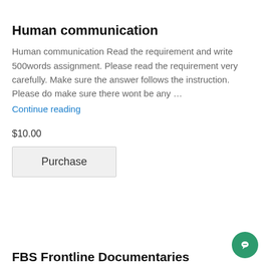Human communication
Human communication Read the requirement and write 500words assignment. Please read the requirement very carefully. Make sure the answer follows the instruction. Please do make sure there wont be any …
Continue reading
$10.00
Purchase
FBS Frontline Documentaries